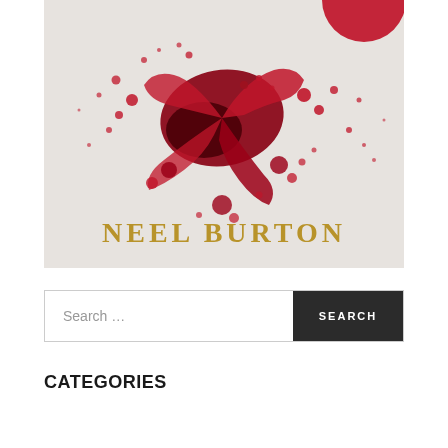[Figure (photo): Book cover image for Neel Burton. Shows a white/cream textured background with dramatic red liquid splatter (resembling blood or wine) spread across the surface. The author name 'NEEL BURTON' is printed in large gold/tan serif capital letters near the bottom of the image. A partial red circle or splatter is visible at the top right.]
Search …
SEARCH
CATEGORIES